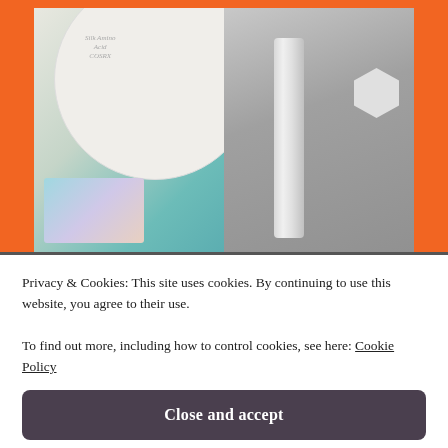[Figure (photo): Two product photos side by side on an orange background. Left photo shows Korean skincare products including a round container with COSRX label and a teal-colored package. Right photo (black and white) shows a skincare tube/serum product with a hexagonal label.]
Privacy & Cookies: This site uses cookies. By continuing to use this website, you agree to their use.
To find out more, including how to control cookies, see here: Cookie Policy
Close and accept
purchased, and my first introduction to peeling gels that